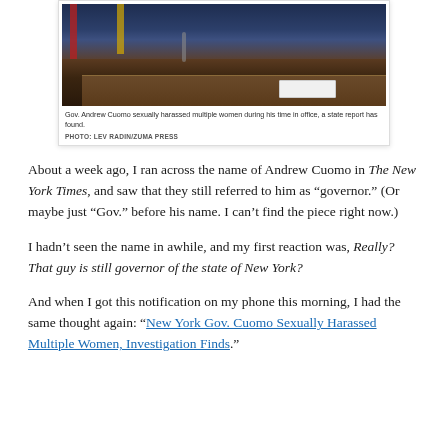[Figure (photo): Gov. Andrew Cuomo at a press conference, seated at a table with microphones, wearing a dark suit and red tie, with an American flag and blue draping visible in the background.]
Gov. Andrew Cuomo sexually harassed multiple women during his time in office, a state report has found.
PHOTO: LEV RADIN/ZUMA PRESS
About a week ago, I ran across the name of Andrew Cuomo in The New York Times, and saw that they still referred to him as “governor.” (Or maybe just “Gov.” before his name. I can’t find the piece right now.)
I hadn’t seen the name in awhile, and my first reaction was, Really? That guy is still governor of the state of New York?
And when I got this notification on my phone this morning, I had the same thought again: “New York Gov. Cuomo Sexually Harassed Multiple Women, Investigation Finds.”